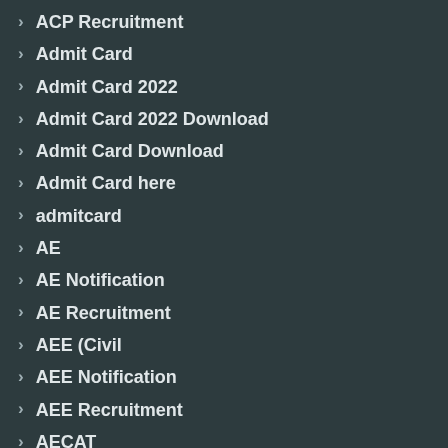ACP Recruitment
Admit Card
Admit Card 2022
Admit Card 2022 Download
Admit Card Download
Admit Card here
admitcard
AE
AE Notification
AE Recruitment
AEE (Civil
AEE Notification
AEE Recruitment
AECAT